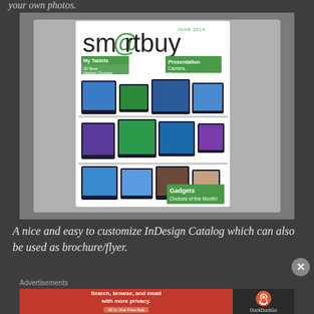your own photos.
[Figure (photo): Screenshot of a smartbuy magazine cover (June 2014) featuring tablets on shelves. Cover shows 'My Tablets - 20 Best Market Choices', 'Presentation Camera, My Love!', and 'Gadgets Choices of the Month!' sections with multiple tablet images arranged on shelves.]
A nice and easy to customize InDesign Catalog which can also be used as brochure/flyer.
Advertisements
[Figure (screenshot): DuckDuckGo advertisement banner: 'Search, browse, and email with more privacy. All in One Free App' on orange background with DuckDuckGo logo on dark background.]